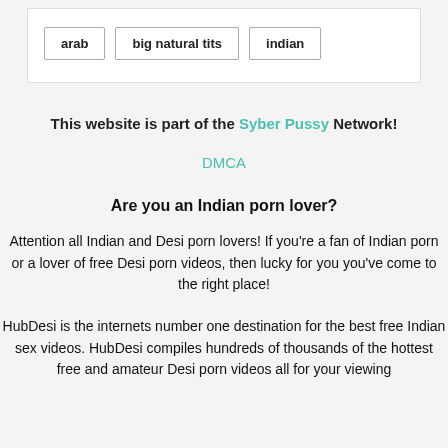arab
big natural tits
indian
This website is part of the Syber Pussy Network!
DMCA
Are you an Indian porn lover?
Attention all Indian and Desi porn lovers! If you're a fan of Indian porn or a lover of free Desi porn videos, then lucky for you you've come to the right place!
HubDesi is the internets number one destination for the best free Indian sex videos. HubDesi compiles hundreds of thousands of the hottest free and amateur Desi porn videos all for your viewing